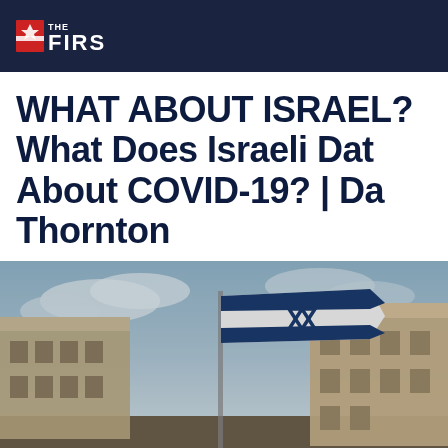THE FIRST
WHAT ABOUT ISRAEL? What Does Israeli Data About COVID-19? | Da Thornton
[Figure (photo): Israeli flag waving in front of ancient stone buildings in Jerusalem, with a cloudy sky background]